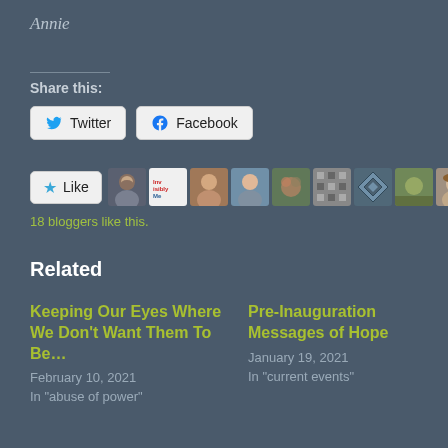Annie
Share this:
[Figure (screenshot): Twitter and Facebook share buttons rendered as rounded rectangle buttons with icons]
[Figure (screenshot): Like button with star icon followed by a strip of 10 blogger avatar thumbnails]
18 bloggers like this.
Related
Keeping Our Eyes Where We Don't Want Them To Be…
February 10, 2021
In "abuse of power"
Pre-Inauguration Messages of Hope
January 19, 2021
In "current events"